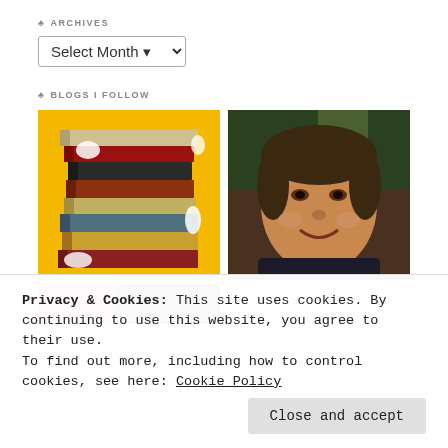ARCHIVES
Select Month
BLOGS I FOLLOW
[Figure (photo): Stack of colorful books on yellow background]
[Figure (photo): Portrait photo of a middle-aged man smiling]
[Figure (photo): Partially visible image at bottom left]
[Figure (photo): Partially visible image at bottom right]
Privacy & Cookies: This site uses cookies. By continuing to use this website, you agree to their use.
To find out more, including how to control cookies, see here: Cookie Policy
Close and accept